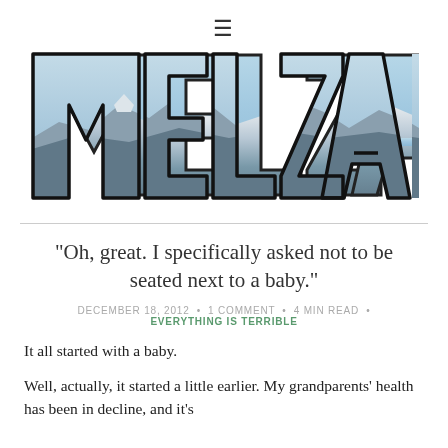[Figure (logo): Hamburger menu icon (three horizontal lines) centered at top of page]
[Figure (logo): MELLZAH blog logo — large block letters filled with a mountain/sky photograph]
“Oh, great. I specifically asked not to be seated next to a baby.”
DECEMBER 18, 2012 • 1 COMMENT • 4 MIN READ • EVERYTHING IS TERRIBLE
It all started with a baby.
Well, actually, it started a little earlier. My grandparents’ health has been in decline, and it’s